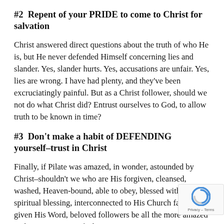#2  Repent of your PRIDE to come to Christ for salvation
Christ answered direct questions about the truth of who He is, but He never defended Himself concerning lies and slander. Yes, slander hurts. Yes, accusations are unfair. Yes, lies are wrong. I have had plenty, and they've been excruciatingly painful. But as a Christ follower, should we not do what Christ did? Entrust ourselves to God, to allow truth to be known in time?
#3  Don't make a habit of DEFENDING yourself–trust in Christ
Finally, if Pilate was amazed, in wonder, astounded by Christ–shouldn't we who are His forgiven, cleansed, washed, Heaven-bound, able to obey, blessed with every spiritual blessing, interconnected to His Church family, given His Word, beloved followers be all the more amazed at the commitment of Christ to go to